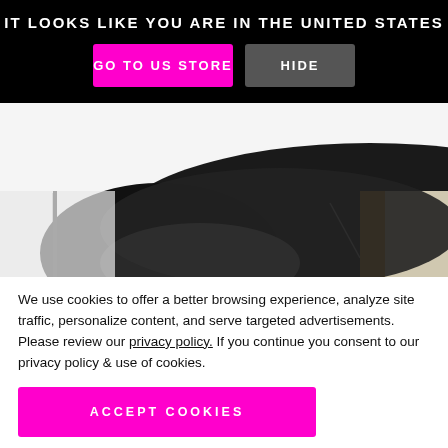IT LOOKS LIKE YOU ARE IN THE UNITED STATES
GO TO US STORE
HIDE
[Figure (photo): Top portion of a person's head with dark hair, partial view of an indoor setting]
We use cookies to offer a better browsing experience, analyze site traffic, personalize content, and serve targeted advertisements. Please review our privacy policy. If you continue you consent to our privacy policy & use of cookies.
ACCEPT COOKIES